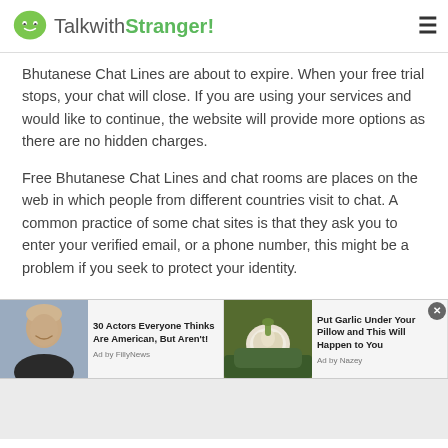TalkwithStranger!
Bhutanese Chat Lines are about to expire. When your free trial stops, your chat will close. If you are using your services and would like to continue, the website will provide more options as there are no hidden charges.
Free Bhutanese Chat Lines and chat rooms are places on the web in which people from different countries visit to chat. A common practice of some chat sites is that they ask you to enter your verified email, or a phone number, this might be a problem if you seek to protect your identity.
[Figure (infographic): Advertisement bar with two ad items: left ad shows a man's photo with text '30 Actors Everyone Thinks Are American, But Aren't!' by FillyNews; right ad shows garlic image with text 'Put Garlic Under Your Pillow and This Will Happen to You' by Nazey. A close button (x) appears in top right.]